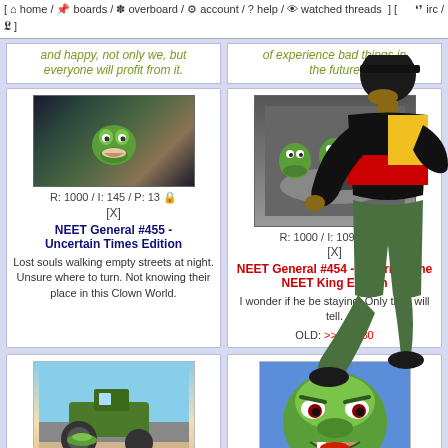[ home / boards / overboard / account / ? help / watched threads ] [ irc / ]
and happy, not only we, but everyone will profit from it.
of experience bad things in the future
[Figure (photo): Pepe the frog at night street scene]
R: 1000 / I: 145 / P: 13
[X]
NEET General #455 - Uncertain Times Edition
Lost souls walking empty streets at night. Unsure where to turn. Not knowing their place in this Clown World.
[Figure (photo): Multiple Pepe frogs sitting at a dinner table in black and white]
R: 1000 / I: 109 / P: 13
[X]
NEET General #454 - Return of the NEET King Edition
I wonder if he be staying. Only time will tell.
OLD: >>458080
[Figure (photo): Pepe the frog being run over by a steamroller cartoon]
[Figure (photo): Angry Pepe the frog face close-up]
R: 1000 / I: 148 / P: 13